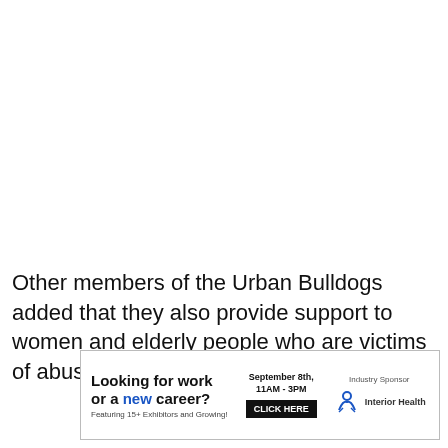Other members of the Urban Bulldogs added that they also provide support to women and elderly people who are victims of abuse.
[Figure (other): Dark circular back-to-top button with upward chevron icon]
[Figure (infographic): Advertisement banner: 'Looking for work or a new career? Featuring 15+ Exhibitors and Growing!' with event details September 8th, 11AM-3PM, CLICK HERE button, Industry Sponsor Interior Health logo]